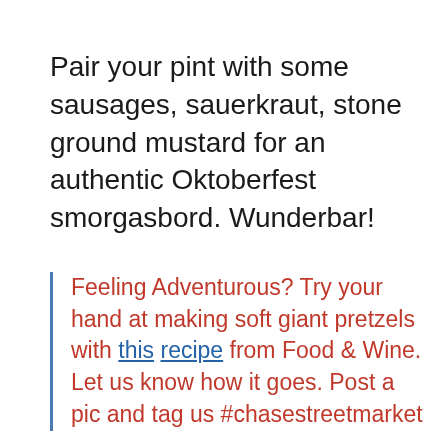Pair your pint with some sausages, sauerkraut, stone ground mustard for an authentic Oktoberfest smorgasbord. Wunderbar!
Feeling Adventurous? Try your hand at making soft giant pretzels with this recipe from Food & Wine. Let us know how it goes. Post a pic and tag us #chasestreetmarket